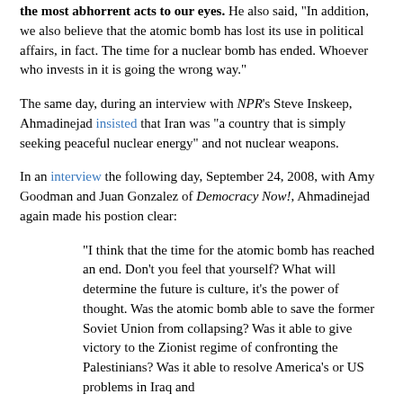the most abhorrent acts to our eyes. He also said, "In addition, we also believe that the atomic bomb has lost its use in political affairs, in fact. The time for a nuclear bomb has ended. Whoever who invests in it is going the wrong way."
The same day, during an interview with NPR's Steve Inskeep, Ahmadinejad insisted that Iran was "a country that is simply seeking peaceful nuclear energy" and not nuclear weapons.
In an interview the following day, September 24, 2008, with Amy Goodman and Juan Gonzalez of Democracy Now!, Ahmadinejad again made his postion clear:
"I think that the time for the atomic bomb has reached an end. Don't you feel that yourself? What will determine the future is culture, it's the power of thought. Was the atomic bomb able to save the former Soviet Union from collapsing? Was it able to give victory to the Zionist regime of confronting the Palestinians? Was it able to resolve America's or US problems in Iraq and